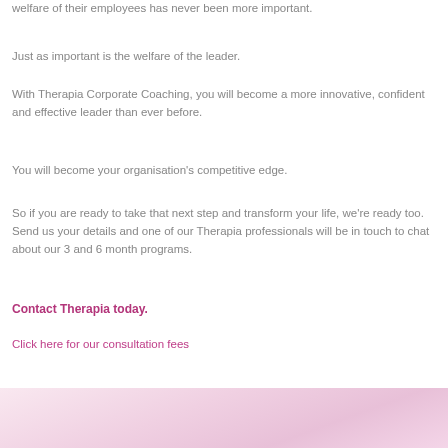welfare of their employees has never been more important.
Just as important is the welfare of the leader.
With Therapia Corporate Coaching, you will become a more innovative, confident and effective leader than ever before.
You will become your organisation's competitive edge.
So if you are ready to take that next step and transform your life, we're ready too. Send us your details and one of our Therapia professionals will be in touch to chat about our 3 and 6 month programs.
Contact Therapia today.
Click here for our consultation fees
[Figure (photo): Bottom portion of a soft pink/light image, appears to be a person in pink tones, partially cropped]